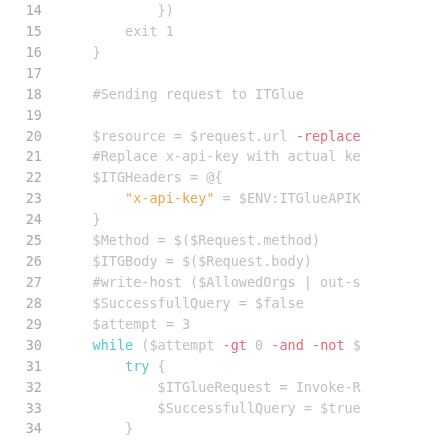Code listing lines 14–34, PowerShell script snippet for sending request to ITGlue